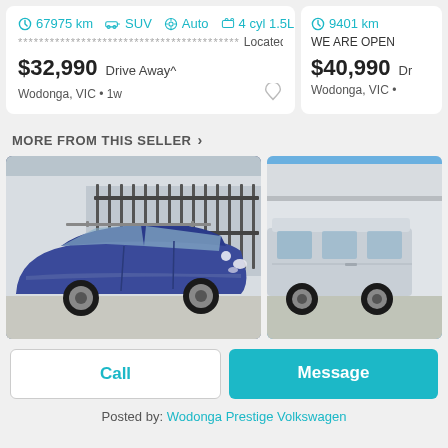67975 km  SUV  Auto  4 cyl 1.5L  ****************************************  Located 3 ...
$32,990 Drive Away^
Wodonga, VIC • 1w
9401 km
$40,990 Dr
Wodonga, VIC •
MORE FROM THIS SELLER
[Figure (photo): Blue Volkswagen Golf wagon parked in front of a building with iron fence]
[Figure (photo): Silver Volkswagen van/minivan parked outside a dealership]
Call
Message
Posted by: Wodonga Prestige Volkswagen